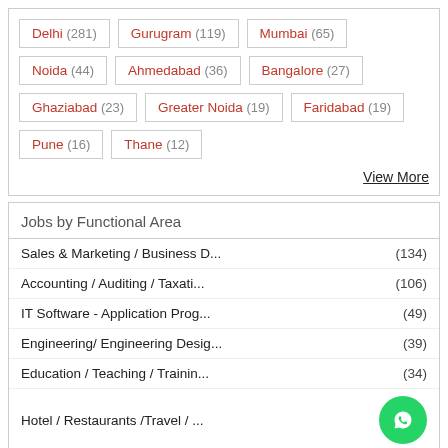Delhi (281)
Gurugram (119)
Mumbai (65)
Noida (44)
Ahmedabad (36)
Bangalore (27)
Ghaziabad (23)
Greater Noida (19)
Faridabad (19)
Pune (16)
Thane (12)
View More
Jobs by Functional Area
Sales & Marketing / Business D... (134)
Accounting / Auditing / Taxati... (106)
IT Software - Application Prog... (49)
Engineering/ Engineering Desig... (39)
Education / Teaching / Trainin... (34)
Hotel / Restaurants /Travel / ...
Front Office / Reception/Compu...
HR / Recruitment / Administrat... (28)